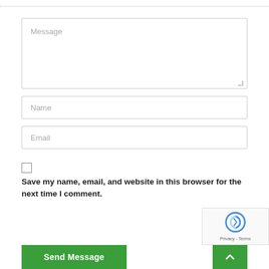[Figure (screenshot): Web contact form with Message textarea, Name input, Email input, a checkbox with label 'Save my name, email, and website in this browser for the next time I comment.', a green Send Message button, a green up-arrow button, and a reCAPTCHA badge.]
Message
Name
Email
Save my name, email, and website in this browser for the next time I comment.
Send Message